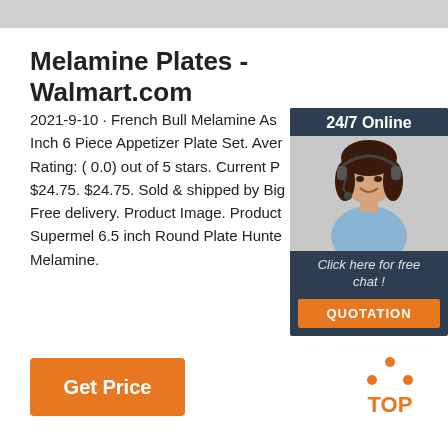Melamine Plates - Walmart.com
2021-9-10 · French Bull Melamine As... Inch 6 Piece Appetizer Plate Set. Aver... Rating: ( 0.0) out of 5 stars. Current P... $24.75. $24.75. Sold & shipped by Big... Free delivery. Product Image. Product... Supermel 6.5 inch Round Plate Hunte... Melamine.
[Figure (other): Orange 'Get Price' button]
[Figure (other): Advertisement sidebar panel with '24/7 Online' label, photo of woman with headset, 'Click here for free chat!' text, and orange 'QUOTATION' button]
[Figure (logo): TOP logo with orange dots arranged in a triangle above the word TOP in orange]